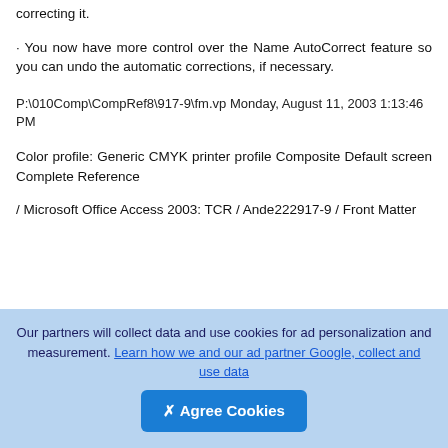correcting it.
· You now have more control over the Name AutoCorrect feature so you can undo the automatic corrections, if necessary.
P:\010Comp\CompRef8\917-9\fm.vp Monday, August 11, 2003 1:13:46 PM
Color profile: Generic CMYK printer profile Composite Default screen Complete Reference
/ Microsoft Office Access 2003: TCR / Ande 222917-9 / Front Matter
Our partners will collect data and use cookies for ad personalization and measurement. Learn how we and our ad partner Google, collect and use data  ✕ Agree Cookies